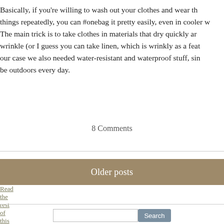Basically, if you're willing to wash out your clothes and wear things repeatedly, you can #onebag it pretty easily, even in cooler w... The main trick is to take clothes in materials that dry quickly a... wrinkle (or I guess you can take linen, which is wrinkly as a fea... our case we also needed water-resistant and waterproof stuff, sin... be outdoors every day.
Read the rest of this entry »
8 Comments
Older posts
Search